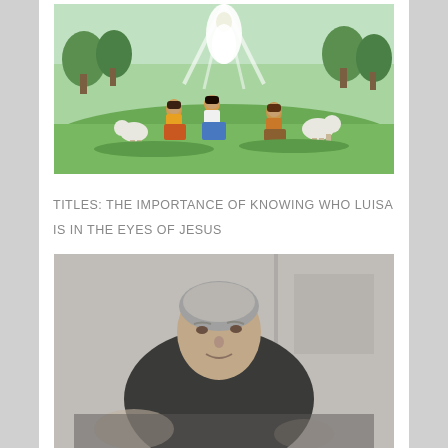[Figure (illustration): Religious illustration of the apparition of Our Lady of Fatima to three shepherd children in a green field with sheep and trees; a glowing white figure appears above them.]
TITLES: THE IMPORTANCE OF KNOWING WHO LUISA IS IN THE EYES OF JESUS
[Figure (photo): Black and white photograph of Luisa Piccarreta, an elderly woman with grey hair pulled back, wearing dark religious clothing, seated and looking slightly to the side.]